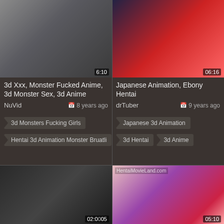[Figure (screenshot): Thumbnail of 3d monster animation video, grey creature, duration 6:10]
3d Xxx, Monster Fucked Anime, 3d Monster Sex, 3d Anime
NuVid   8 years ago
3d Monsters Fucking Girls
Hentai 3d Animation Monster Bruatli
[Figure (screenshot): Thumbnail of Japanese anime hentai video with red gore imagery, duration 6:16]
Japanese Animation, Ebony Hentai
drTuber   9 years ago
Japanese 3d Animation
3d Hentai
3d Anime
[Figure (screenshot): Thumbnail of 3d anime female character video, duration 02:0x]
[Figure (screenshot): Thumbnail of hentai animation video from HentaiMovieLand.com, duration 05:10]